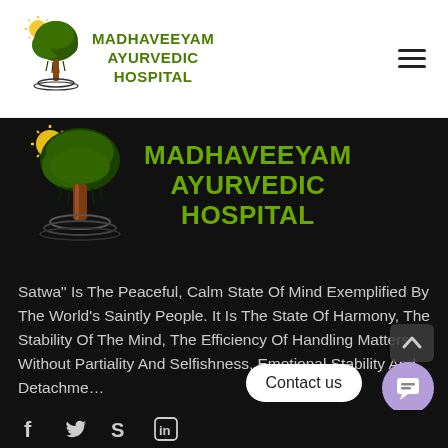[Figure (logo): Madhaveeyam Ayurvedic Hospital logo - tree with sun and roots, small version in white header]
MADHAVEEYAM AYURVEDIC HOSPITAL
[Figure (logo): Madhaveeyam Ayurvedic Hospital logo - large version with colorful tree and sun on dark background]
MADHAVEEYAM AYURVEDIC HOSPITAL
Satwa” Is The Peaceful, Calm State Of Mind Exemplified By The World’s Saintly People. It Is The State Of Harmony, The Stability Of The Mind, The Efficiency Of Handling Matters Without Partiality And Selfishness, Emotional Stability And Detachment
Contact us
[Figure (other): Social media icons: Facebook, Twitter, Skype, LinkedIn]